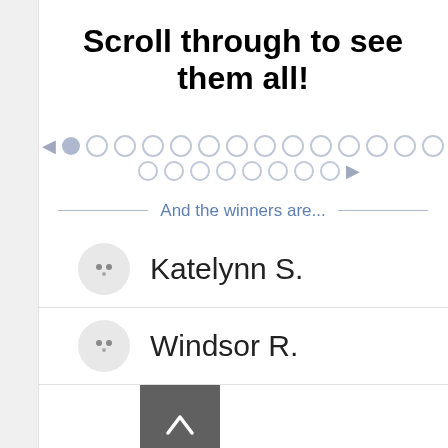Scroll through to see them all!
[Figure (other): Pagination dots navigation with left arrow, one filled dot, many empty dots in two rows, and right arrow]
And the winners are...
Katelynn S.
Windsor R.